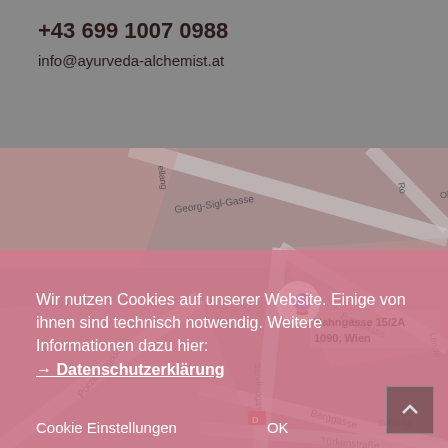+43 699 1007 0988
info@ayurveda-alchemist.at
[Figure (map): Street map showing area around Hahngasse 15/2A, 1090 Wien, with streets Georg-Sigl-Gasse, Porzellangasse, Servitengasse, Berggasse, Türkenstraße visible]
Wir nutzen Cookies auf unserer Website. Einige von ihnen sind technisch notwendig. Weitere Informationen dazu hier:
→ Datenschutzerklärung
Cookie Einstellungen
OK